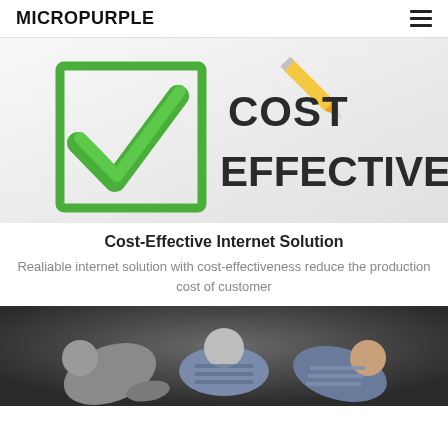MICROPURPLE
[Figure (illustration): Green checkmark inside a square checkbox with text 'COST EFFECTIVE' in bold dark letters, on a light gray background with a pencil/pen partially visible at top]
Cost-Effective Internet Solution
Realiable internet solution with cost-effectiveness reduce the production cost of customer
[Figure (photo): Three people bending over, seen from above, on a dark textured background]